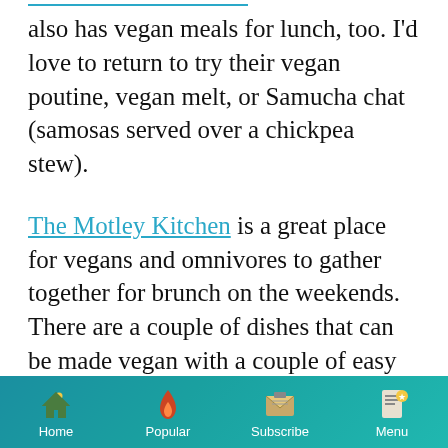also has vegan meals for lunch, too. I'd love to return to try their vegan poutine, vegan melt, or Samucha chat (samosas served over a chickpea stew).
The Motley Kitchen is a great place for vegans and omnivores to gather together for brunch on the weekends. There are a couple of dishes that can be made vegan with a couple of easy substitutions. For instance, the Cottage Breakfast can be made vegan by swapping in scrambled tofu and sauteed veggies. The Neato Burrito becomes vegan
Home  Popular  Subscribe  Menu